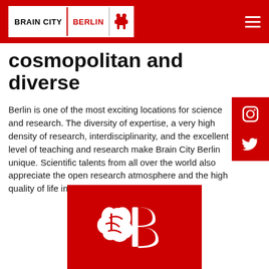BRAIN CITY BERLIN
cosmopolitan and diverse
Berlin is one of the most exciting locations for science and research. The diversity of expertise, a very high density of research, interdisciplinarity, and the excellent level of teaching and research make Brain City Berlin unique. Scientific talents from all over the world also appreciate the open research atmosphere and the high quality of life in the city.
[Figure (logo): Brain City Berlin logo — white brain and letter B on a red background]